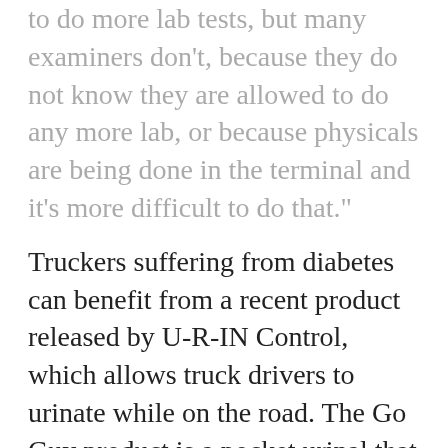to do more lab tests, but many examiners don't, because they do not know they are allowed to do any more lab, or because physicals are being done in the terminal and it's more difficult to do that."
Truckers suffering from diabetes can benefit from a recent product released by U-R-IN Control, which allows truck drivers to urinate while on the road. The Go Guy product is a pocket urinal that solidifies urine using polymer crystals.
Related Articles
Health officials looking to address diabetes problem among truckers